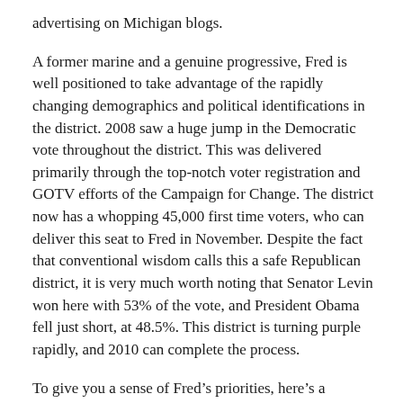advertising on Michigan blogs.
A former marine and a genuine progressive, Fred is well positioned to take advantage of the rapidly changing demographics and political identifications in the district. 2008 saw a huge jump in the Democratic vote throughout the district. This was delivered primarily through the top-notch voter registration and GOTV efforts of the Campaign for Change. The district now has a whopping 45,000 first time voters, who can deliver this seat to Fred in November. Despite the fact that conventional wisdom calls this a safe Republican district, it is very much worth noting that Senator Levin won here with 53% of the vote, and President Obama fell just short, at 48.5%. This district is turning purple rapidly, and 2010 can complete the process.
To give you a sense of Fred’s priorities, here’s a statement he gave me soon after I first met him this spring:
There are two interrelated issues that command the